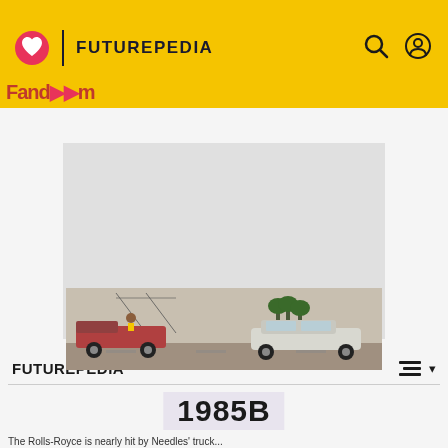FUTUREPEDIA
[Figure (screenshot): Advertisement placeholder - grey rectangle]
ADVERTISEMENT
FUTUREPEDIA
1985B
[Figure (photo): Scene showing a red pickup truck with people on the back on the left, and a white classic luxury car (Rolls-Royce style) on the right, on a road with power lines and trees in background]
The Rolls-Royce is nearly hit by Needles' truck...